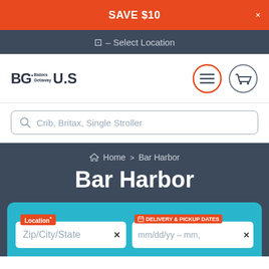SAVE $10
– Select Location
[Figure (logo): BG Babies Getaway U.S logo with hamburger menu icon and cart icon]
Crib, Britax, Single Stroller
Home > Bar Harbor
Bar Harbor
Location* Zip/City/State
DELIVERY & PICKUP DATES mm/dd/yy - mm,